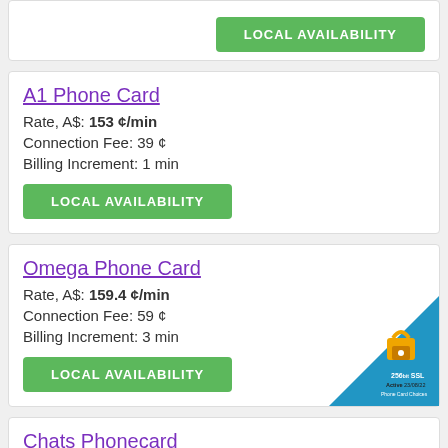LOCAL AVAILABILITY
A1 Phone Card
Rate, A$: 153 ¢/min
Connection Fee: 39 ¢
Billing Increment: 1 min
LOCAL AVAILABILITY
Omega Phone Card
Rate, A$: 159.4 ¢/min
Connection Fee: 59 ¢
Billing Increment: 3 min
LOCAL AVAILABILITY
Chats Phonecard
[Figure (other): 256bit SSL Active 23/08/22 Phone Card Choices security badge with padlock icon]